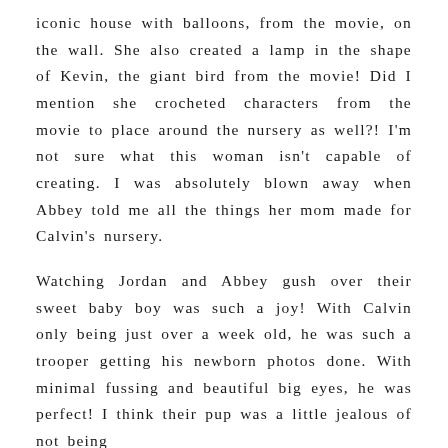iconic house with balloons, from the movie, on the wall. She also created a lamp in the shape of Kevin, the giant bird from the movie! Did I mention she crocheted characters from the movie to place around the nursery as well?! I'm not sure what this woman isn't capable of creating. I was absolutely blown away when Abbey told me all the things her mom made for Calvin's nursery.
Watching Jordan and Abbey gush over their sweet baby boy was such a joy! With Calvin only being just over a week old, he was such a trooper getting his newborn photos done. With minimal fussing and beautiful big eyes, he was perfect! I think their pup was a little jealous of not being the center of attention anymore, but was such a good sport throughout the session.